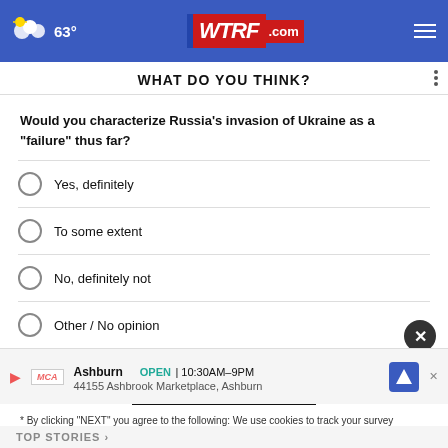63° WTRF.com
WHAT DO YOU THINK?
Would you characterize Russia's invasion of Ukraine as a "failure" thus far?
Yes, definitely
To some extent
No, definitely not
Other / No opinion
NEXT *
* By clicking "NEXT" you agree to the following: We use cookies to track your survey answers. If you would like to continue with this survey, please read and agree to the CivicScience Privacy Policy and Terms of Service
Ashburn OPEN | 10:30AM–9PM 44155 Ashbrook Marketplace, Ashburn
TOP STORIES ›